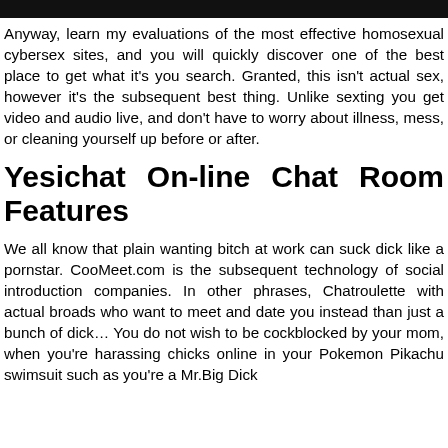Anyway, learn my evaluations of the most effective homosexual cybersex sites, and you will quickly discover one of the best place to get what it's you search. Granted, this isn't actual sex, however it's the subsequent best thing. Unlike sexting you get video and audio live, and don't have to worry about illness, mess, or cleaning yourself up before or after.
Yesichat On-line Chat Room Features
We all know that plain wanting bitch at work can suck dick like a pornstar. CooMeet.com is the subsequent technology of social introduction companies. In other phrases, Chatroulette with actual broads who want to meet and date you instead than just a bunch of dick… You do not wish to be cockblocked by your mom, when you're harassing chicks online in your Pokemon Pikachu swimsuit such as you're a Mr.Big Dick